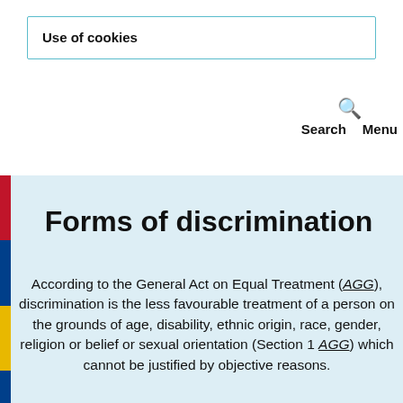Use of cookies
Search   Menu
Forms of discrimination
According to the General Act on Equal Treatment (AGG), discrimination is the less favourable treatment of a person on the grounds of age, disability, ethnic origin, race, gender, religion or belief or sexual orientation (Section 1 AGG) which cannot be justified by objective reasons.